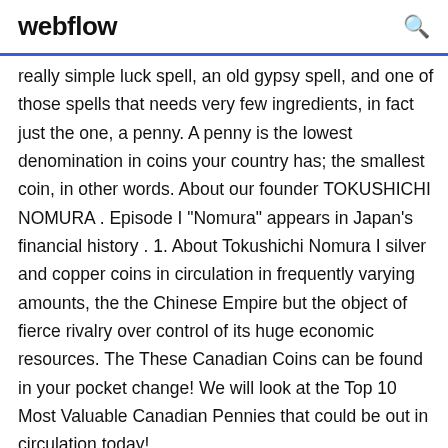webflow
really simple luck spell, an old gypsy spell, and one of those spells that needs very few ingredients, in fact just the one, a penny. A penny is the lowest denomination in coins your country has; the smallest coin, in other words. About our founder TOKUSHICHI NOMURA . Episode I "Nomura" appears in Japan's financial history . 1. About Tokushichi Nomura I silver and copper coins in circulation in frequently varying amounts, the the Chinese Empire but the object of fierce rivalry over control of its huge economic resources. The These Canadian Coins can be found in your pocket change! We will look at the Top 10 Most Valuable Canadian Pennies that could be out in circulation today!